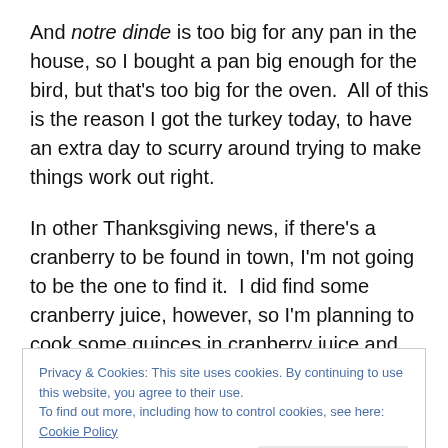And notre dinde is too big for any pan in the house, so I bought a pan big enough for the bird, but that's too big for the oven.  All of this is the reason I got the turkey today, to have an extra day to scurry around trying to make things work out right.

In other Thanksgiving news, if there's a cranberry to be found in town, I'm not going to be the one to find it.  I did find some cranberry juice, however, so I'm planning to cook some quinces in cranberry juice and call it cranberry sauce.  I got some sweet potatoes from Israel, and I've
Privacy & Cookies: This site uses cookies. By continuing to use this website, you agree to their use.
To find out more, including how to control cookies, see here: Cookie Policy
Close and accept
Advertisements